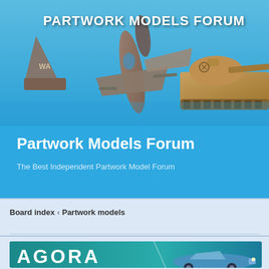[Figure (screenshot): Partwork Models Forum banner header with military vehicles (fighter jet and tank) on a blue background with white bold text 'PARTWORK MODELS FORUM']
Partwork Models Forum
The Best Independent Partwork Model Forum
Board index ‹ Partwork models
[Figure (screenshot): Agora banner advertisement showing teal background with large white bold text 'AGORA' and a classic convertible car on the right]